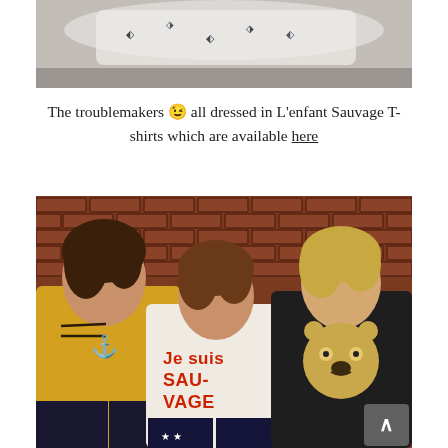[Figure (photo): Cropped top portion of a child wearing a white T-shirt with bird/arrow prints, seated outdoors on pavement]
The troublemakers 😉 all dressed in L'enfant Sauvage T-shirts which are available here
[Figure (photo): Three boys standing against a red brick wall, all wearing L'enfant Sauvage T-shirts. Left boy wears a yellow shirt with cat whiskers design, center boy wears a white shirt reading 'Je suis Sauvage', right boy wears a dark shirt with a bear/animal face graphic.]